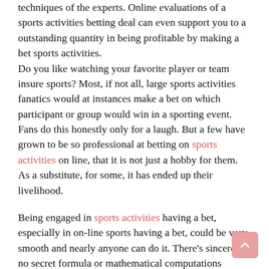techniques of the experts. Online evaluations of a sports activities betting deal can even support you to a outstanding quantity in being profitable by making a bet sports activities. Do you like watching your favorite player or team insure sports? Most, if not all, large sports activities fanatics would at instances make a bet on which participant or group would win in a sporting event. Fans do this honestly only for a laugh. But a few have grown to be so professional at betting on sports activities on line, that it is not just a hobby for them. As a substitute, for some, it has ended up their livelihood.
Being engaged in sports activities having a bet, especially in on-line sports having a bet, could be very smooth and nearly anyone can do it. There's sincerely no secret formula or mathematical computations needed for one to be a terrific sports activities bettor. All you'll need is to have a very good expertise of the game and the group or player that you may vicinity your wager on, in addition to the guidelines and the odds of your guess.